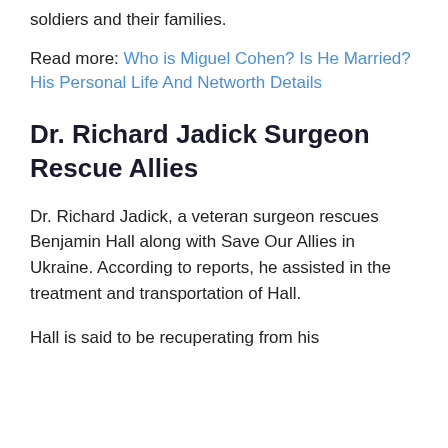soldiers and their families.
Read more: Who is Miguel Cohen? Is He Married? His Personal Life And Networth Details
Dr. Richard Jadick Surgeon Rescue Allies
Dr. Richard Jadick, a veteran surgeon rescues Benjamin Hall along with Save Our Allies in Ukraine. According to reports, he assisted in the treatment and transportation of Hall.
Hall is said to be recuperating from his